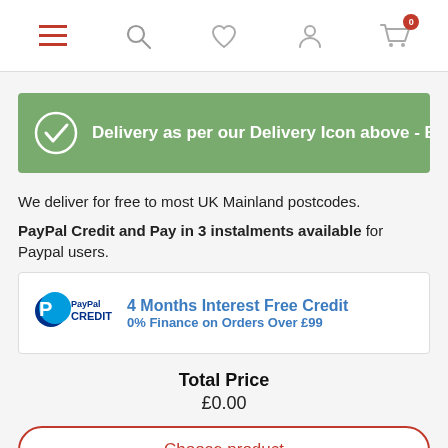[Figure (screenshot): Top navigation bar with hamburger menu (red lines), search icon, heart/wishlist icon, user/profile icon, and shopping cart icon with badge showing 0]
[Figure (infographic): Green banner with white checkmark circle icon and text: Delivery as per our Delivery Icon above - Exce]
We deliver for free to most UK Mainland postcodes.
PayPal Credit and Pay in 3 instalments available for Paypal users.
[Figure (logo): PayPal Credit banner showing PayPal Credit logo on left and text: 4 Months Interest Free Credit / 0% Finance on Orders Over £99]
Total Price
£0.00
Choose product